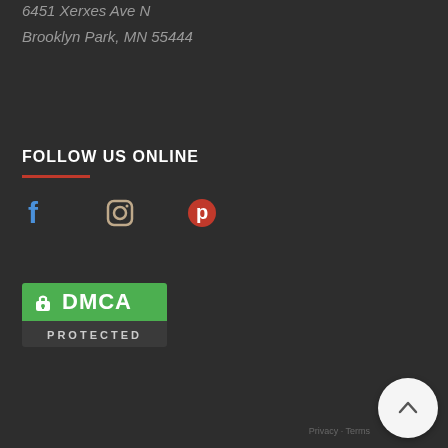6451 Xerxes Ave N
Brooklyn Park, MN 55444
FOLLOW US ONLINE
[Figure (illustration): Social media icons: Facebook (blue f), Instagram (brown camera), Pinterest (red p)]
[Figure (logo): DMCA PROTECTED badge with green background and lock icon]
Privacy · Terms